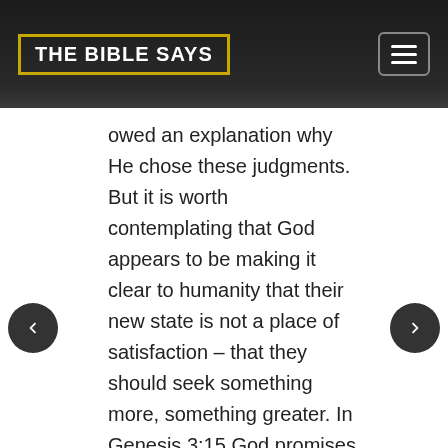THE BIBLE SAYS
owed an explanation why He chose these judgments. But it is worth contemplating that God appears to be making it clear to humanity that their new state is not a place of satisfaction – that they should seek something more, something greater. In Genesis 3:15 God promises the means by which that something greater can be gained.
Biblical Text
16 To the woman He said, “I will greatly multiply Your pain in childbirth, In pain you will bring forth children; Yet your desire will be for your husband, And he will rule